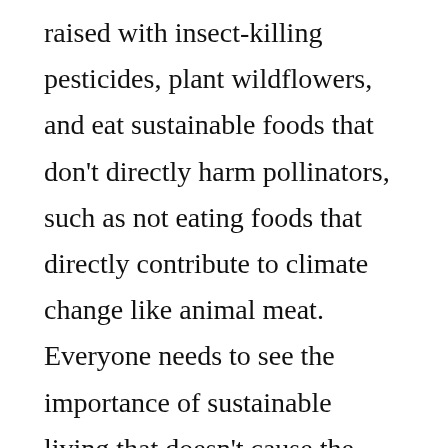raised with insect-killing pesticides, plant wildflowers, and eat sustainable foods that don't directly harm pollinators, such as not eating foods that directly contribute to climate change like animal meat. Everyone needs to see the importance of sustainable living that doesn't cause the mass extinction of honey bees as we've been seeing. The principles of Ecofeminism are our best bet when it comes to reversing the negative effects of our capitalistic, carnivoristic, waste-based culture